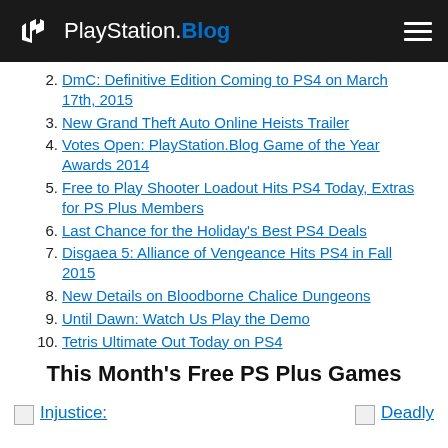PlayStation.Blog
2. DmC: Definitive Edition Coming to PS4 on March 17th, 2015
3. New Grand Theft Auto Online Heists Trailer
4. Votes Open: PlayStation.Blog Game of the Year Awards 2014
5. Free to Play Shooter Loadout Hits PS4 Today, Extras for PS Plus Members
6. Last Chance for the Holiday's Best PS4 Deals
7. Disgaea 5: Alliance of Vengeance Hits PS4 in Fall 2015
8. New Details on Bloodborne Chalice Dungeons
9. Until Dawn: Watch Us Play the Demo
10. Tetris Ultimate Out Today on PS4
This Month's Free PS Plus Games
Injustice:
Deadly